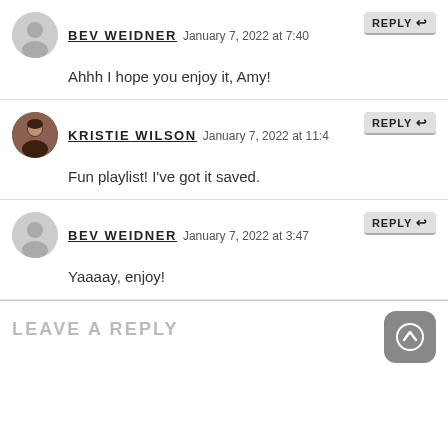BEV WEIDNER January 7, 2022 at 7:40 REPLY
Ahhh I hope you enjoy it, Amy!
KRISTIE WILSON January 7, 2022 at 11:4 REPLY
Fun playlist! I've got it saved.
BEV WEIDNER January 7, 2022 at 3:47 REPLY
Yaaaay, enjoy!
LEAVE A REPLY